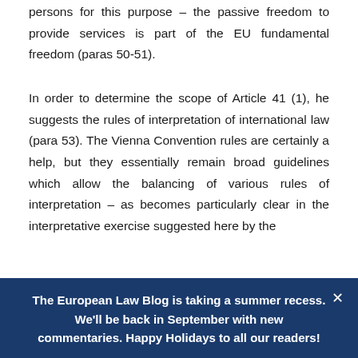persons for this purpose – the passive freedom to provide services is part of the EU fundamental freedom (paras 50-51).
In order to determine the scope of Article 41 (1), he suggests the rules of interpretation of international law (para 53). The Vienna Convention rules are certainly a help, but they essentially remain broad guidelines which allow the balancing of various rules of interpretation – as becomes particularly clear in the interpretative exercise suggested here by the
The European Law Blog is taking a summer recess. We'll be back in September with new commentaries. Happy Holidays to all our readers!